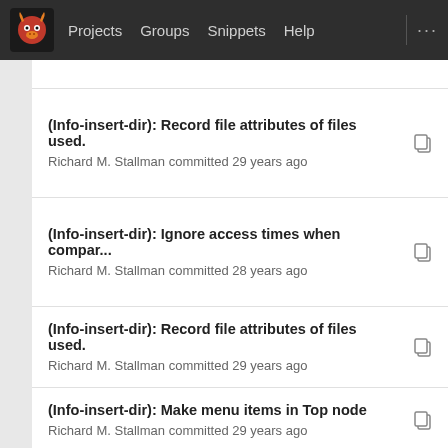Projects  Groups  Snippets  Help  ...
(Info-insert-dir): Record file attributes of files used.
Richard M. Stallman committed 29 years ago
(Info-insert-dir): Ignore access times when compar...
Richard M. Stallman committed 28 years ago
(Info-insert-dir): Record file attributes of files used.
Richard M. Stallman committed 29 years ago
(Info-insert-dir): Make menu items in Top node
Richard M. Stallman committed 29 years ago
(Info-insert-dir): Ignore duplicate directories.
Richard M. Stallman committed 29 years ago